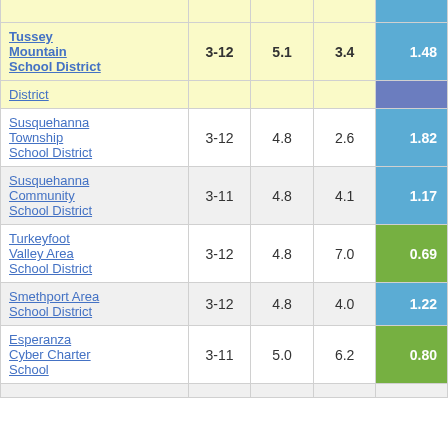| District Name | Grades | Col3 | Col4 | Value |
| --- | --- | --- | --- | --- |
| Tussey Mountain School District | 3-12 | 5.1 | 3.4 | 1.48 |
| District |  |  |  |  |
| Susquehanna Township School District | 3-12 | 4.8 | 2.6 | 1.82 |
| Susquehanna Community School District | 3-11 | 4.8 | 4.1 | 1.17 |
| Turkeyfoot Valley Area School District | 3-12 | 4.8 | 7.0 | 0.69 |
| Smethport Area School District | 3-12 | 4.8 | 4.0 | 1.22 |
| Esperanza Cyber Charter School | 3-11 | 5.0 | 6.2 | 0.80 |